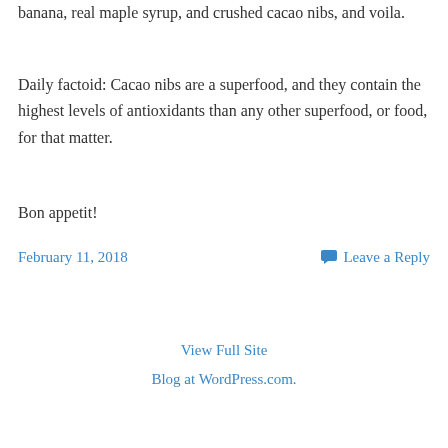banana, real maple syrup, and crushed cacao nibs, and voila.
Daily factoid: Cacao nibs are a superfood, and they contain the highest levels of antioxidants than any other superfood, or food, for that matter.
Bon appetit!
February 11, 2018
Leave a Reply
View Full Site
Blog at WordPress.com.